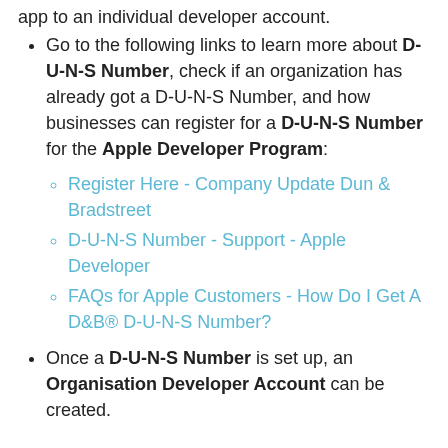app to an individual developer account.
Go to the following links to learn more about D-U-N-S Number, check if an organization has already got a D-U-N-S Number, and how businesses can register for a D-U-N-S Number for the Apple Developer Program:
Register Here - Company Update Dun & Bradstreet
D-U-N-S Number - Support - Apple Developer
FAQs for Apple Customers - How Do I Get A D&B® D-U-N-S Number?
Once a D-U-N-S Number is set up, an Organisation Developer Account can be created.